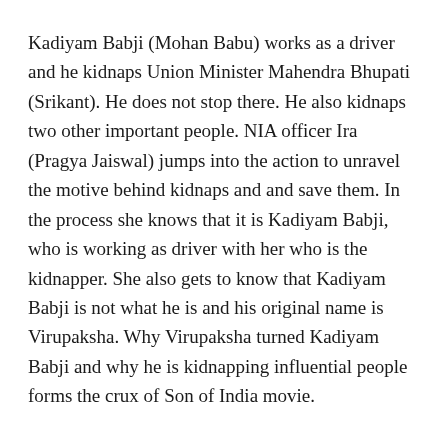Kadiyam Babji (Mohan Babu) works as a driver and he kidnaps Union Minister Mahendra Bhupati (Srikant). He does not stop there. He also kidnaps two other important people. NIA officer Ira (Pragya Jaiswal) jumps into the action to unravel the motive behind kidnaps and and save them. In the process she knows that it is Kadiyam Babji, who is working as driver with her who is the kidnapper. She also gets to know that Kadiyam Babji is not what he is and his original name is Virupaksha. Why Virupaksha turned Kadiyam Babji and why he is kidnapping influential people forms the crux of Son of India movie.